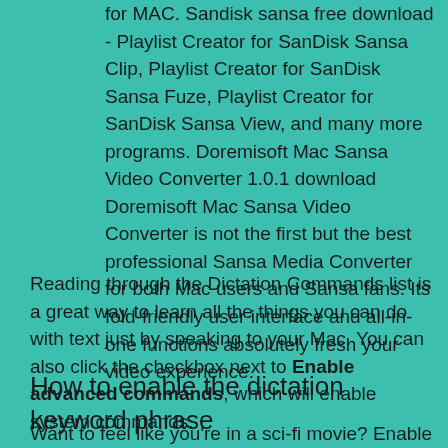for MAC. Sandisk sansa free download - Playlist Creator for SanDisk Sansa Clip, Playlist Creator for SanDisk Sansa Fuze, Playlist Creator for SanDisk Sansa View, and many more programs. Doremisoft Mac Sansa Video Converter 1.0.1 download Doremisoft Mac Sansa Video Converter is not the first but the best professional Sansa Media Converter for both Mac users and Sansa fans. Its fold-friendly user interface and all-in-one functions absolutely fresh your video experience.
Reading through the Dictation Commands list is a great way to learn all the things you can do with text just by speaking to your Mac. You can also click the checkbox next to Enable advanced commands, which will enable system commands.
How to enable the dictation keyword phrase
Want to feel like you're in a sci-fi movie? Enable the dictation